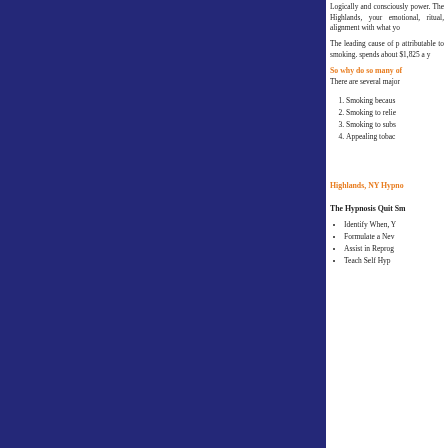Logically and consciously power. The Highlands, your emotional, ritual, alignment with what yo
The leading cause of p attributable to smoking. spends about $1,825 a y
So why do so many of
There are several major
1. Smoking becaus
2. Smoking to relie
3. Smoking to subs
4. Appealing tobac
Highlands, NY Hypno
The Hypnosis Quit Sm
Identify When, Y
Formulate a New
Assist in Reprog
Teach Self Hyp